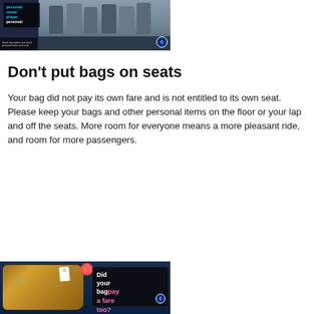[Figure (photo): Photo of transit passengers sitting on subway seats, with a transit advertising campaign overlay showing 'personal music player personal' text in blue and white]
Don't put bags on seats
Your bag did not pay its own fare and is not entitled to its own seat. Please keep your bags and other personal items on the floor or your lap and off the seats. More room for everyone means a more pleasant ride, and room for more passengers.
[Figure (photo): Photo of a bag on a transit seat with a campaign sign that reads 'Did your bag pay a fare too?']